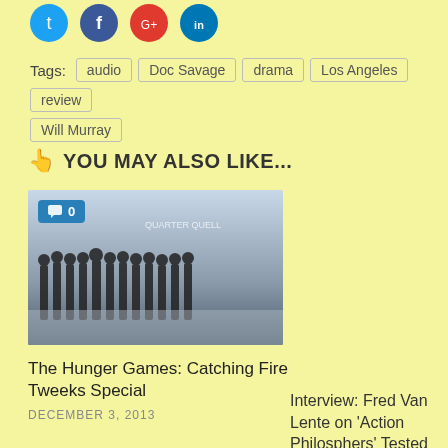[Figure (illustration): Social media icons: Twitter (blue), Facebook (dark blue), Google+ (red), LinkedIn (blue)]
Tags: audio  Doc Savage  drama  Los Angeles  review  Will Murray
YOU MAY ALSO LIKE...
[Figure (photo): Image of Hunger Games: Catching Fire characters standing in a row in matching grey suits against a misty background with 'Quarter Quell' text. Blue comment badge showing 0 in top left corner.]
The Hunger Games: Catching Fire Tweeks Special
DECEMBER 3, 2013
Interview: Fred Van Lente on 'Action Philosphers' Tested by